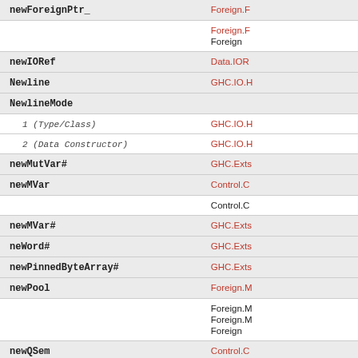| Identifier | Module |
| --- | --- |
| newForeignPtr_ | Foreign.F...
Foreign.F...
Foreign |
| newIORef | Data.IOR... |
| Newline | GHC.IO.H... |
| NewlineMode |  |
| 1 (Type/Class) | GHC.IO.H... |
| 2 (Data Constructor) | GHC.IO.H... |
| newMutVar# | GHC.Exts... |
| newMVar | Control.C...
Control.C... |
| newMVar# | GHC.Exts... |
| neWord# | GHC.Exts... |
| newPinnedByteArray# | GHC.Exts... |
| newPool | Foreign.M...
Foreign.M...
Foreign.M...
Foreign |
| newQSem | Control.C...
Control.C... |
| newQSemN | Control.C...
Control.C... |